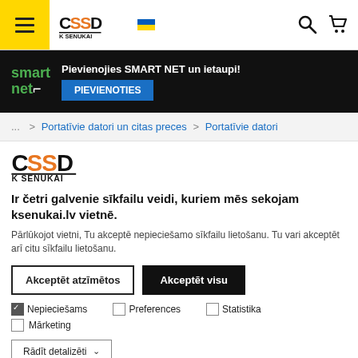CSSD KSENUKAI navigation header with hamburger menu, logo, search and cart icons
[Figure (screenshot): Smart net promotional banner with logo, text 'Pievienojies SMART NET un ietaupi!' and blue join button 'PIEVIENOTIES']
... > Portatīvie datori un citas preces > Portatīvie datori
[Figure (logo): CSSD KSENUKAI brand logo in black and orange]
Ir četri galvenie sīkfailu veidi, kuriem mēs sekojam ksenukai.lv vietnē.
Pārlūkojot vietni, Tu akceptē nepieciešamo sīkfailu lietošanu. Tu vari akceptēt arī citu sīkfailu lietošanu.
Akceptēt atzīmētos | Akceptēt visu
Nepieciešams (checked), Preferences, Statistika, Mārketing
Rādīt detalizēti